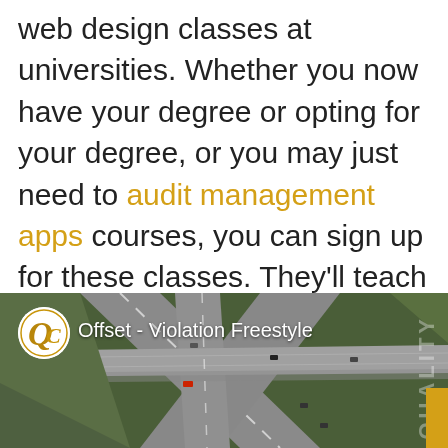web design classes at universities. Whether you now have your degree or opting for your degree, or you may just need to audit management apps courses, you can sign up for these classes. They'll teach you so much and keep current. Besides, universities most stylish networking places as surely.
[Figure (screenshot): Aerial view of highway interchange with cars, overlaid with a video player showing 'Offset - Violation Freestyle' with a Quality logo (QC in circle) and 'QUALITY' text watermark on the right side.]